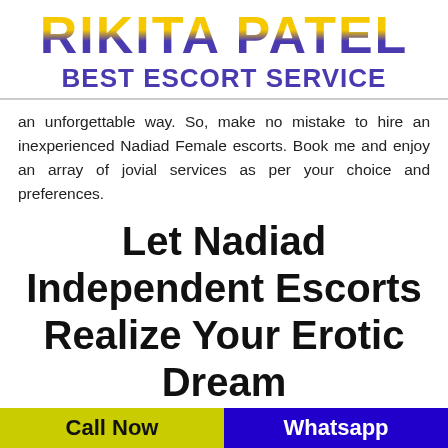RIKITA PATEL BEST ESCORT SERVICE
an unforgettable way. So, make no mistake to hire an inexperienced Nadiad Female escorts. Book me and enjoy an array of jovial services as per your choice and preferences.
Let Nadiad Independent Escorts Realize Your Erotic Dream
Call Now
Whatsapp